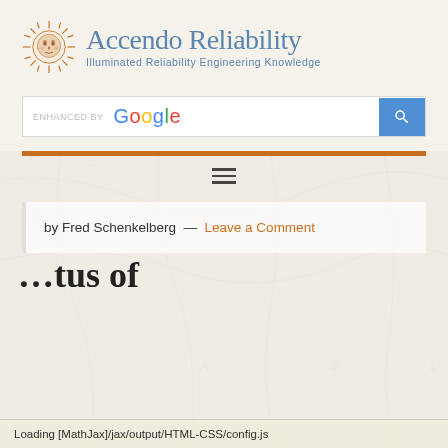[Figure (logo): Accendo Reliability logo with sun/face icon and text 'Accendo Reliability — Illuminated Reliability Engineering Knowledge']
[Figure (screenshot): Google search bar labeled 'ENHANCED BY Google' with blue search button]
[Figure (other): Orange horizontal rule divider]
[Figure (other): Hamburger menu icon (three horizontal lines)]
by Fred Schenkelberg — Leave a Comment
Loading [MathJax]/jax/output/HTML-CSS/config.js
...tus of